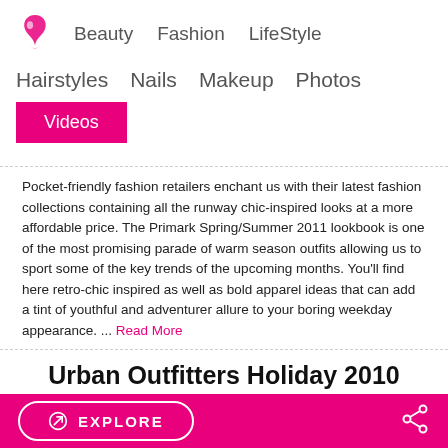Beauty  Fashion  LifeStyle
Hairstyles  Nails  Makeup  Photos
Videos
Pocket-friendly fashion retailers enchant us with their latest fashion collections containing all the runway chic-inspired looks at a more affordable price. The Primark Spring/Summer 2011 lookbook is one of the most promising parade of warm season outfits allowing us to sport some of the key trends of the upcoming months. You'll find here retro-chic inspired as well as bold apparel ideas that can add a tint of youthful and adventurer allure to your boring weekday appearance. ... Read More
Urban Outfitters Holiday 2010 Lookbook
EXPLORE